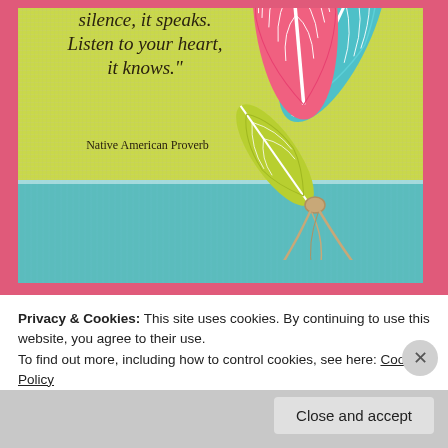[Figure (photo): A handmade greeting card with a yellow-green (lime) fabric-textured top panel featuring an italic serif quote text, and a teal brushed bottom panel. Three feathers (pink, teal, and yellow-green) are arranged together tied with a twine bow, overlapping the two color panels. The card is set on a pink/coral border.]
silence, it speaks. Listen to your heart, it knows." Native American Proverb
Privacy & Cookies: This site uses cookies. By continuing to use this website, you agree to their use.
To find out more, including how to control cookies, see here: Cookie Policy